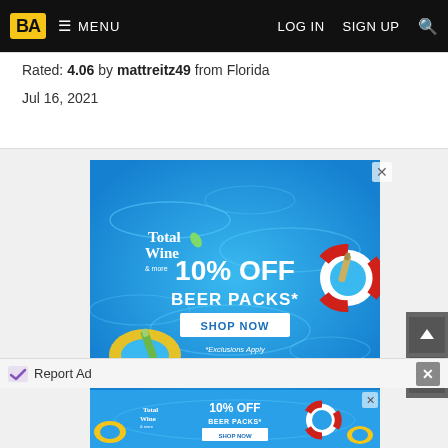BA  ≡ MENU   LOG IN   SIGN UP  🔍
Rated: 4.06 by mattreitz49 from Florida
Jul 16, 2021
[Figure (illustration): Total Wine & More advertisement: 10% OFF BEER PACKS* with SHOP NOW button and *Exclusions Apply text, pool/water background with floaties]
Report Ad
[Figure (illustration): Total Wine & More advertisement banner (small): 10% OFF BEER PACKS* SHOP NOW, pool background]